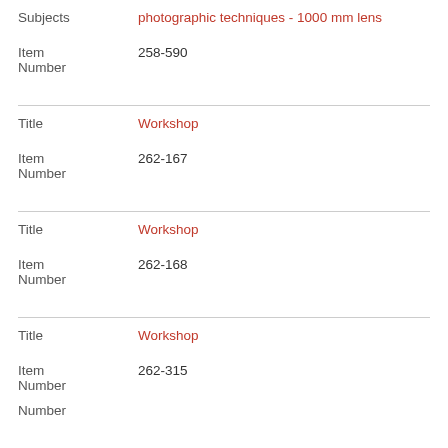| Field | Value |
| --- | --- |
| Subjects | photographic techniques - 1000 mm lens |
| Item Number | 258-590 |
| Title | Workshop |
| Item Number | 262-167 |
| Title | Workshop |
| Item Number | 262-168 |
| Title | Workshop |
| Item Number | 262-315 |